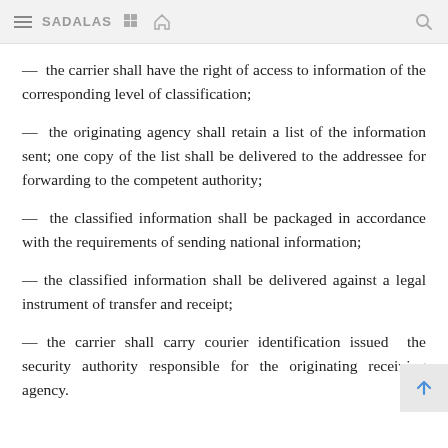SADALAS
— the carrier shall have the right of access to information of the corresponding level of classification;
— the originating agency shall retain a list of the information sent; one copy of the list shall be delivered to the addressee for forwarding to the competent authority;
— the classified information shall be packaged in accordance with the requirements of sending national information;
— the classified information shall be delivered against a legal instrument of transfer and receipt;
— the carrier shall carry courier identification issued the security authority responsible for the originating receiving agency.